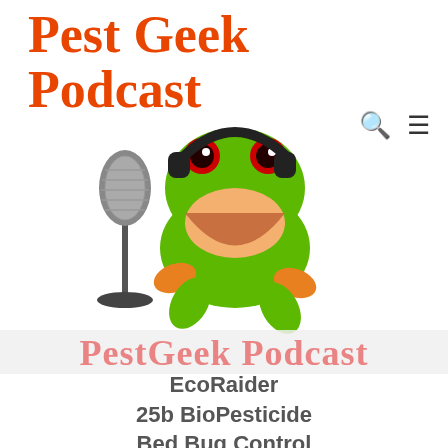Pest Geek Podcast
[Figure (illustration): Green tree frog wearing headphones and leaning into a microphone, acting as podcast mascot for Pest Geek Podcast]
PestGeek Podcast
EcoRaider
25b BioPesticide
Bed Bug Control
With Dennis Judy